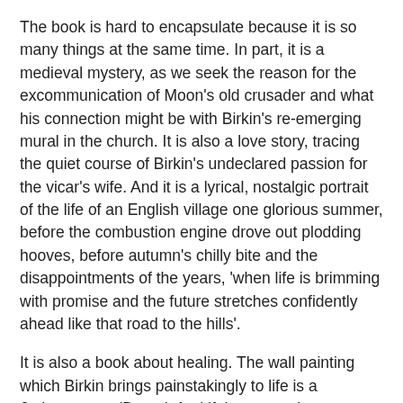The book is hard to encapsulate because it is so many things at the same time. In part, it is a medieval mystery, as we seek the reason for the excommunication of Moon's old crusader and what his connection might be with Birkin's re-emerging mural in the church. It is also a love story, tracing the quiet course of Birkin's undeclared passion for the vicar's wife. And it is a lyrical, nostalgic portrait of the life of an English village one glorious summer, before the combustion engine drove out plodding hooves, before autumn's chilly bite and the disappointments of the years, 'when life is brimming with promise and the future stretches confidently ahead like that road to the hills'.
It is also a book about healing. The wall painting which Birkin brings painstakingly to life is a Judgment – a 'Doom'. And if the tortured representations of the damned on their descent to hell are an echo of the horrors of Flanders, the English countryside surely represents the Elysian fields, full of the promise of redemption. We watch as Birkin is gradually unlocked from his shell-shocked inner prison, by the sun on his skin, and through tentative steps towards friendship, not only with the locals. Moon Keep, but with the